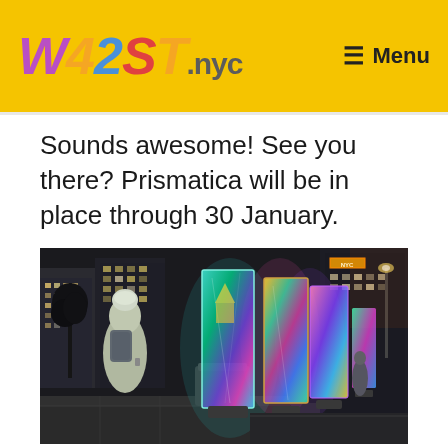W42ST.nyc  Menu
Sounds awesome! See you there? Prismatica will be in place through 30 January.
[Figure (photo): Nighttime street scene showing illuminated prismatic/holographic rectangular panels standing upright on a city sidewalk near Times Square area. A person with a backpack and winter hat is visible in the foreground photographing the art installation. Colorful iridescent panels glow with blues, greens, pinks, and yellows. City buildings and street lights are visible in the background.]